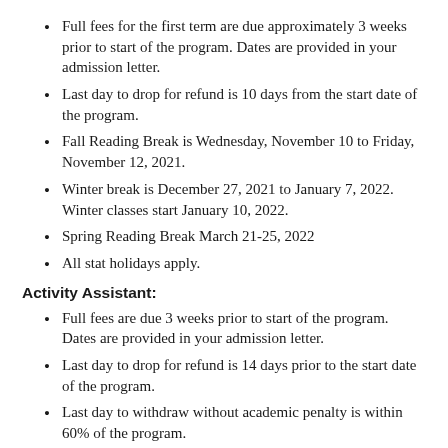Full fees for the first term are due approximately 3 weeks prior to start of the program. Dates are provided in your admission letter.
Last day to drop for refund is 10 days from the start date of the program.
Fall Reading Break is Wednesday, November 10 to Friday, November 12, 2021.
Winter break is December 27, 2021 to January 7, 2022. Winter classes start January 10, 2022.
Spring Reading Break March 21-25, 2022
All stat holidays apply.
Activity Assistant:
Full fees are due 3 weeks prior to start of the program. Dates are provided in your admission letter.
Last day to drop for refund is 14 days prior to the start date of the program.
Last day to withdraw without academic penalty is within 60% of the program.